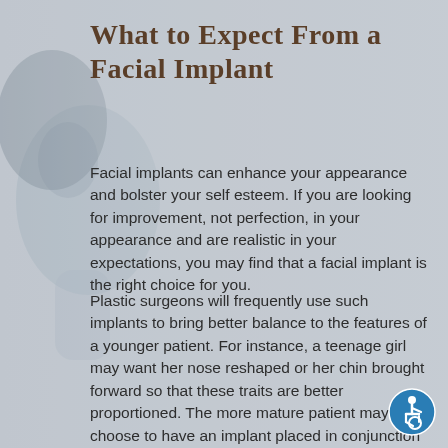[Figure (photo): Faded background photo of a woman's face in profile, serving as a decorative background for the medical article page.]
What to Expect From a Facial Implant
Facial implants can enhance your appearance and bolster your self esteem. If you are looking for improvement, not perfection, in your appearance and are realistic in your expectations, you may find that a facial implant is the right choice for you.
Plastic surgeons will frequently use such implants to bring better balance to the features of a younger patient. For instance, a teenage girl may want her nose reshaped or her chin brought forward so that these traits are better proportioned. The more mature patient may choose to have an implant placed in conjunction with another cosmetic procedure. For example, during a facelift, a patient
[Figure (logo): Accessibility icon — blue circle with white wheelchair user symbol.]